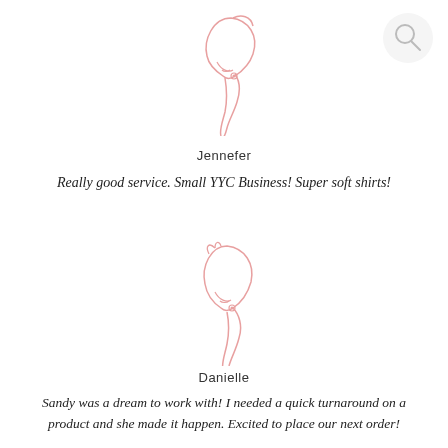[Figure (illustration): Pink line-art illustration of a woman's side profile with a ponytail hair style, top avatar]
Jennefer
Really good service. Small YYC Business! Super soft shirts!
[Figure (illustration): Pink line-art illustration of a woman's side profile with a ponytail hair style, bottom avatar]
Danielle
Sandy was a dream to work with! I needed a quick turnaround on a product and she made it happen. Excited to place our next order!